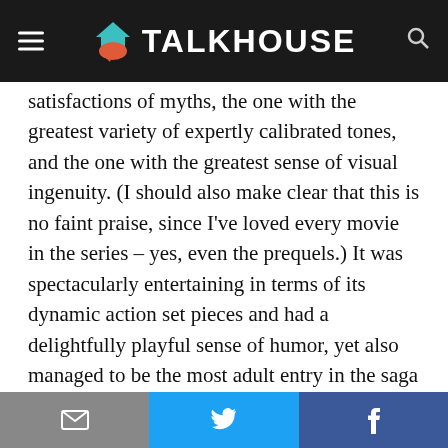TALKHOUSE
satisfactions of myths, the one with the greatest variety of expertly calibrated tones, and the one with the greatest sense of visual ingenuity. (I should also make clear that this is no faint praise, since I've loved every movie in the series – yes, even the prequels.) It was spectacularly entertaining in terms of its dynamic action set pieces and had a delightfully playful sense of humor, yet also managed to be the most adult entry in the saga since The Empire Strikes Back; its examination of grief and its exploration of the ways in which people struggle with the difference
Privacy & Cookies: This site uses cookies. By continuing to use this website, you agree to their use.
To find out more, including how to control cookies, see here: Cookie Policy